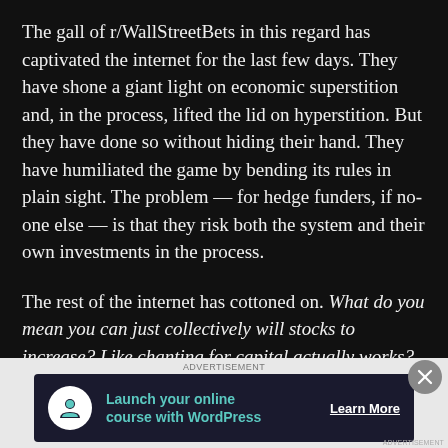The gall of r/WallStreetBets in this regard has captivated the internet for the last few days. They have shone a giant light on economic superstition and, in the process, lifted the lid on hyperstition. But they have done so without hiding their hand. They have humiliated the game by bending its rules in plain sight. The problem — for hedge funders, if no-one else — is that they risk both the system and their own investments in the process.
The rest of the internet has cottoned on. What do you mean you can just collectively will stocks to increase? Like chanting for capital actually works? The unbelief of economists in market dynamics has been revealed to
ADVERTISEMENT
[Figure (other): Advertisement banner for WordPress online course with teal icon and 'Learn More' button on dark background]